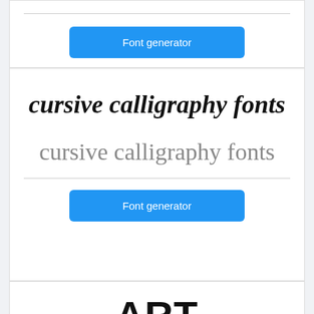[Figure (screenshot): Top card partial: horizontal rule and Font generator blue button]
[Figure (screenshot): Middle card showing cursive calligraphy fonts in bold italic, then light gray, with Font generator button]
[Figure (screenshot): Bottom card showing ART NOUVEAU FONT in bold display font, partially cut off]